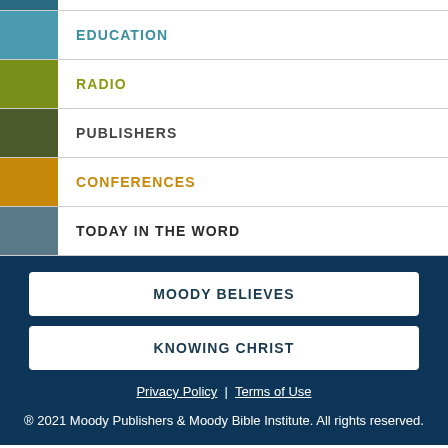EDUCATION
RADIO
PUBLISHERS
CONFERENCES
TODAY IN THE WORD
MOODY BELIEVES
KNOWING CHRIST
Privacy Policy | Terms of Use
® 2021 Moody Publishers & Moody Bible Institute. All rights reserved.